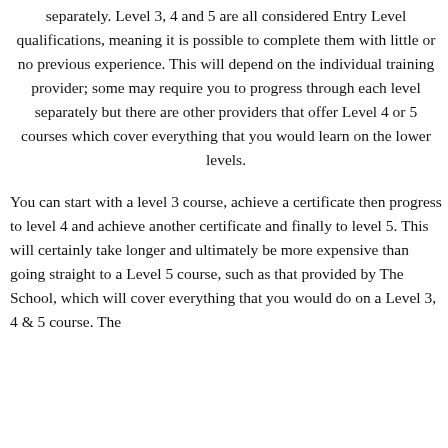separately. Level 3, 4 and 5 are all considered Entry Level qualifications, meaning it is possible to complete them with little or no previous experience. This will depend on the individual training provider; some may require you to progress through each level separately but there are other providers that offer Level 4 or 5 courses which cover everything that you would learn on the lower levels.
You can start with a level 3 course, achieve a certificate then progress to level 4 and achieve another certificate and finally to level 5. This will certainly take longer and ultimately be more expensive than going straight to a Level 5 course, such as that provided by The School, which will cover everything that you would do on a Level 3, 4 & 5 course. The